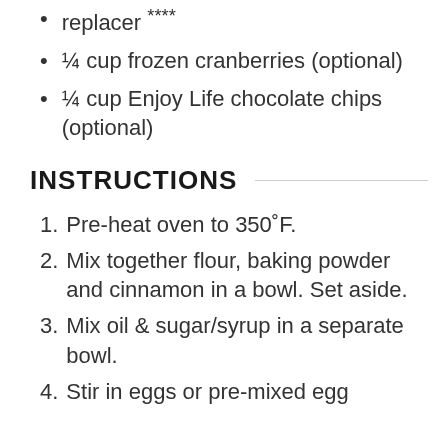replacer ****
¼ cup frozen cranberries (optional)
¼ cup Enjoy Life chocolate chips (optional)
INSTRUCTIONS
1. Pre-heat oven to 350˚F.
2. Mix together flour, baking powder and cinnamon in a bowl. Set aside.
3. Mix oil & sugar/syrup in a separate bowl.
4. Stir in eggs or pre-mixed egg